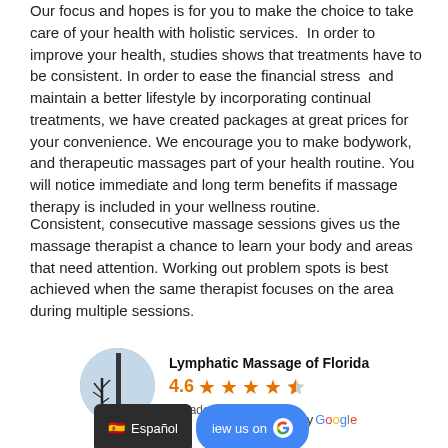Our focus and hopes is for you to make the choice to take care of your health with holistic services.  In order to improve your health, studies shows that treatments have to be consistent. In order to ease the financial stress  and maintain a better lifestyle by incorporating continual treatments, we have created packages at great prices for your convenience. We encourage you to make bodywork, and therapeutic massages part of your health routine. You will notice immediate and long term benefits if massage therapy is included in your wellness routine.
Consistent, consecutive massage sessions gives us the massage therapist a chance to learn your body and areas that need attention. Working out problem spots is best achieved when the same therapist focuses on the area during multiple sessions.
[Figure (other): Google review widget showing Lymphatic Massage of Florida with 4.6 stars rating based on 17 reseñas, powered by Google]
[Figure (other): Bottom bar with Español language selector button and Review us on Google button]